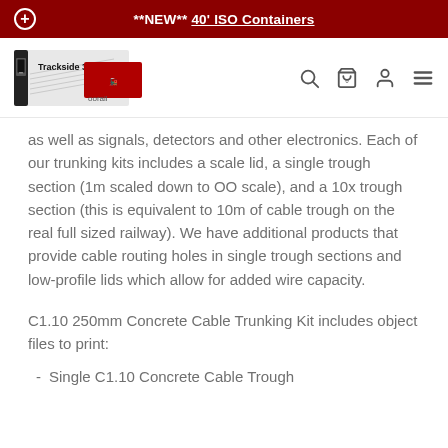**NEW** 40' ISO Containers
[Figure (logo): Trackside 3D / oorail logo with model railway imagery]
as well as signals, detectors and other electronics. Each of our trunking kits includes a scale lid, a single trough section (1m scaled down to OO scale), and a 10x trough section (this is equivalent to 10m of cable trough on the real full sized railway). We have additional products that provide cable routing holes in single trough sections and low-profile lids which allow for added wire capacity.
C1.10 250mm Concrete Cable Trunking Kit includes object files to print:
Single C1.10 Concrete Cable Trough